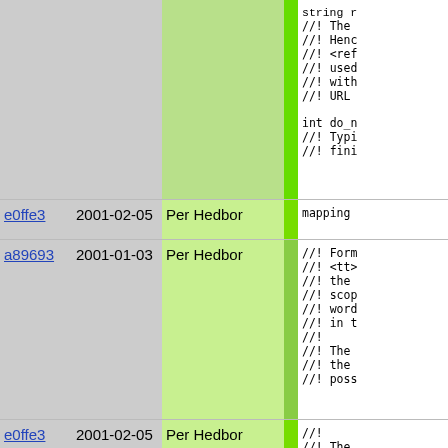| hash | date | author | bar | code |
| --- | --- | --- | --- | --- |
|  |  |  |  | string r
//! The
//! Henc
//! <ref
//! used
//! with
//! URL

int do_n
//! Typi
//! fini |
| e0ffe3 | 2001-02-05 | Per Hedbor |  | mapping |
| a89693 | 2001-01-03 | Per Hedbor |  | //! Form
//! <tt>
//! the
//! scop
//! word
//! in t
//!
//! The
//! the
//! poss |
| e0ffe3 | 2001-02-05 | Per Hedbor |  | //!
//! The |
| a89693 | 2001-01-03 | Per Hedbor |  |  |
| 5aca9b | 2001-09-28 | Martin Stjernholm |  | mapping( |